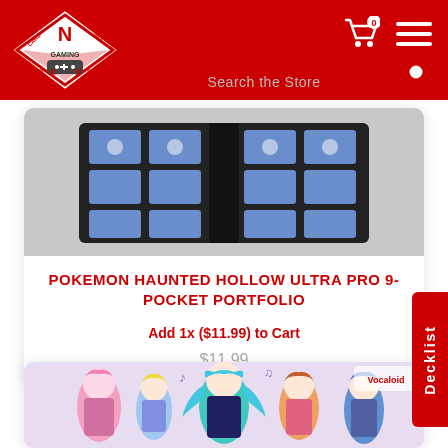[Figure (logo): Card N All Gaming store logo - diamond shaped red and white logo with gaming controller]
Search the Store
[Figure (photo): Pokemon Haunted Hollow Ultra Pro 9-Pocket Portfolio binder open showing Pokemon cards in sleeves]
POKEMON HAUNTED HOLLOW ULTRA PRO 9-POCKET PORTFOLIO
Add 1x ($11.99) to Cart
$11.99
[Figure (illustration): Anime characters (Vocaloid/Hatsune Miku style) illustrated artwork for a playmat]
Decklist